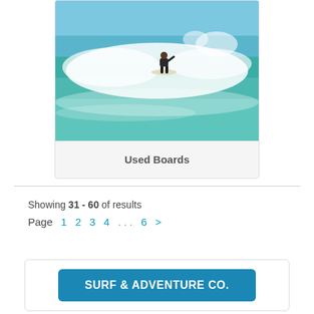[Figure (photo): Photo of a surfer riding a large ocean wave with white foam and blue-green water]
Used Boards
Showing 31 - 60 of results
Page 1 2 3 4 ... 6 >
[Figure (logo): SURF & ADVENTURE Co. banner button in blue]